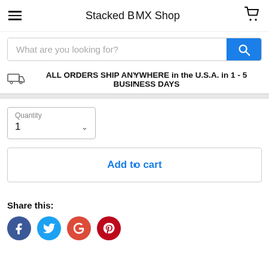Stacked BMX Shop
What are you looking for?
ALL ORDERS SHIP ANYWHERE in the U.S.A. in 1 - 5 BUSINESS DAYS
Quantity
1
Add to cart
Share this: